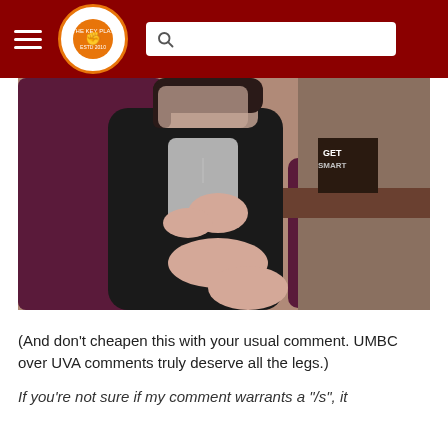The Key Play
[Figure (photo): A person with blurred/obscured face sitting in a dark purple/maroon chair, wearing a black blazer over a gray top with bare legs crossed. Background shows a desk area with items including what appears to be a 'Get Smart' item.]
(And don't cheapen this with your usual comment. UMBC over UVA comments truly deserve all the legs.)
If you're not sure if my comment warrants a "/s", it